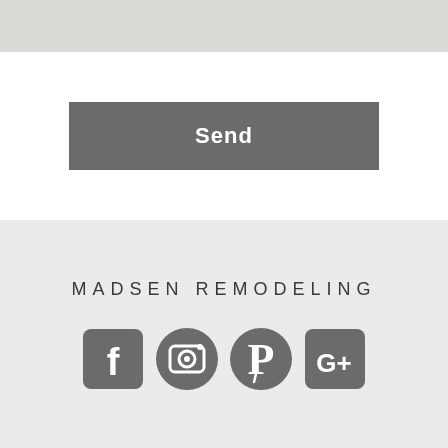[Figure (screenshot): Gray top bar strip]
[Figure (screenshot): Send button - dark gray rectangle with white bold text 'Send']
MADSEN REMODELING
[Figure (infographic): Four social media icons in dark gray: Facebook, Instagram, Pinterest, Google+]